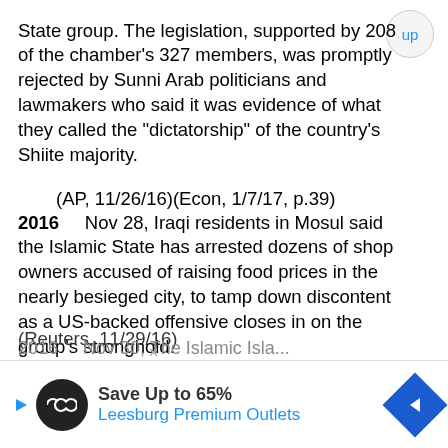State group. The legislation, supported by 208 of the chamber's 327 members, was promptly rejected by Sunni Arab politicians and lawmakers who said it was evidence of what they called the "dictatorship" of the country's Shiite majority.
    (AP, 11/26/16)(Econ, 1/7/17, p.39)
2016    Nov 28, Iraqi residents in Mosul said the Islamic State has arrested dozens of shop owners accused of raising food prices in the nearly besieged city, to tamp down discontent as a US-backed offensive closes in on the group's stronghold.
    (Reuters, 11/28/16)
2016    Nov 29, An Iraqi official said water supplies to about 650,000 residents of Mosul have been cut off after a pipeline was hit during fighting between the army and Islamic State militants.
    (Reuters, 11/29/16)
[Figure (infographic): Advertisement banner for Leesburg Premium Outlets: Save Up to 65%. Shows a circular black icon with infinity symbol, a blue play triangle, and a blue diamond shaped navigation icon.]